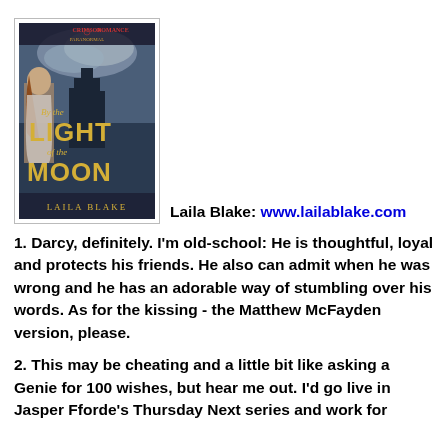[Figure (photo): Book cover of 'By the Light of the Moon' by Laila Blake, Crimson Romance Paranormal imprint. Shows a woman and misty castle/building at night.]
Laila Blake: www.lailablake.com
1. Darcy, definitely. I'm old-school: He is thoughtful, loyal and protects his friends. He also can admit when he was wrong and he has an adorable way of stumbling over his words. As for the kissing - the Matthew McFayden version, please.
2. This may be cheating and a little bit like asking a Genie for 100 wishes, but hear me out. I'd go live in Jasper Fforde's Thursday Next series and work for